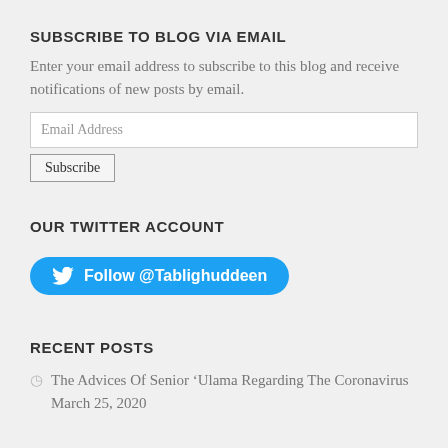SUBSCRIBE TO BLOG VIA EMAIL
Enter your email address to subscribe to this blog and receive notifications of new posts by email.
[Figure (screenshot): Email address input field and Subscribe button form]
OUR TWITTER ACCOUNT
[Figure (other): Twitter follow button: Follow @Tablighuddeen]
RECENT POSTS
The Advices Of Senior ‘Ulama Regarding The Coronavirus
March 25, 2020